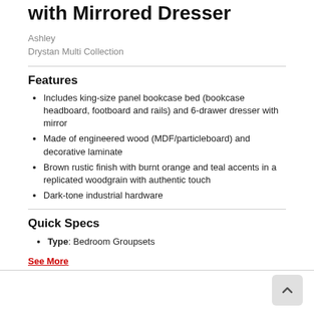with Mirrored Dresser
Ashley
Drystan Multi Collection
Features
Includes king-size panel bookcase bed (bookcase headboard, footboard and rails) and 6-drawer dresser with mirror
Made of engineered wood (MDF/particleboard) and decorative laminate
Brown rustic finish with burnt orange and teal accents in a replicated woodgrain with authentic touch
Dark-tone industrial hardware
Quick Specs
Type: Bedroom Groupsets
See More